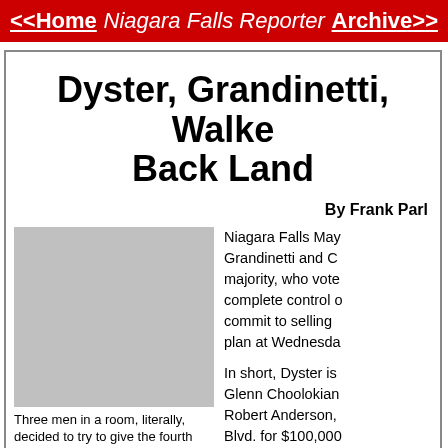<<Home   Niagara Falls Reporter   Archive>>
Dyster, Grandinetti, Walker Back Land
By Frank Parl
[Figure (photo): Photo of three men in a room]
Three men in a room, literally, decided to try to give the fourth one land and millions. Hamister (2nd form left).The three men are Sam Hoyt (l) Chris Schoepflin (2nd from right) and Paul Dyster (r).
Niagara Falls Mayor, Grandinetti and C majority, who voted complete control commit to selling plan at Wednesda
In short, Dyster is Glenn Choolokian Robert Anderson, Blvd. for $100,000
The property, acc worth as much as